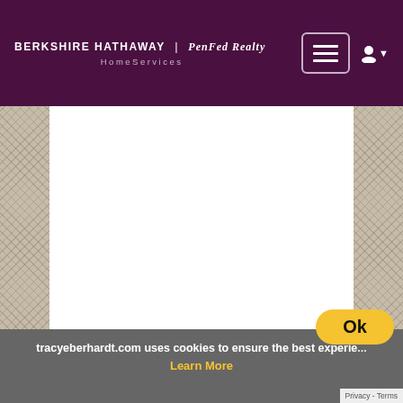BERKSHIRE HATHAWAY | PenFed Realty HomeServices
[Figure (screenshot): Main content area with dotted/crosshatch side panels on left and right, white center area]
tracyeberhardt.com uses cookies to ensure the best experience
Learn More
Privacy - Terms